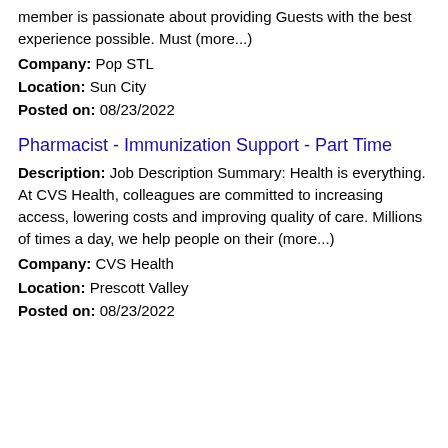member is passionate about providing Guests with the best experience possible. Must (more...)
Company: Pop STL
Location: Sun City
Posted on: 08/23/2022
Pharmacist - Immunization Support - Part Time
Description: Job Description Summary: Health is everything. At CVS Health, colleagues are committed to increasing access, lowering costs and improving quality of care. Millions of times a day, we help people on their (more...)
Company: CVS Health
Location: Prescott Valley
Posted on: 08/23/2022